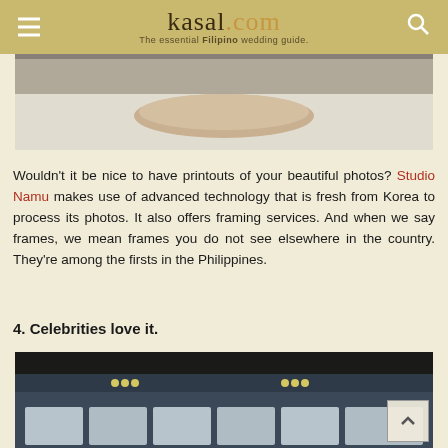kasal.com — The essential Filipino wedding guide
[Figure (photo): Top portion of a photo showing hands on white fabric/bedding]
Wouldn't it be nice to have printouts of your beautiful photos? Studio Namu makes use of advanced technology that is fresh from Korea to process its photos. It also offers framing services. And when we say frames, we mean frames you do not see elsewhere in the country. They're among the firsts in the Philippines.
4. Celebrities love it.
[Figure (photo): Interior photo of a studio/gallery space showing ceiling lights and display panels/cabinets along the bottom]